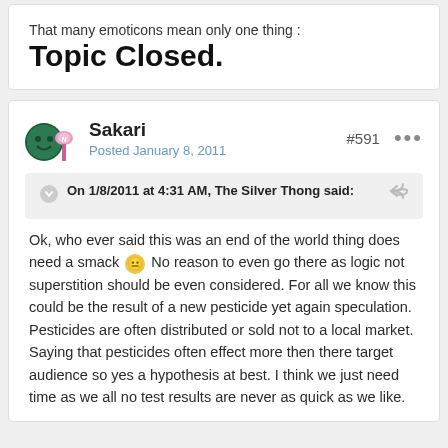That many emoticons mean only one thing : Topic Closed.
Sakari
Posted January 8, 2011
#591
On 1/8/2011 at 4:31 AM, The Silver Thong said:
Ok, who ever said this was an end of the world thing does need a smack 😑 No reason to even go there as logic not superstition should be even considered. For all we know this could be the result of a new pesticide yet again speculation. Pesticides are often distributed or sold not to a local market. Saying that pesticides often effect more then there target audience so yes a hypothesis at best. I think we just need time as we all no test results are never as quick as we like.